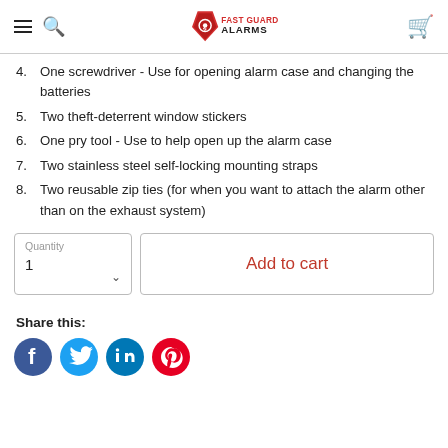Fast Guard Alarms
4. One screwdriver - Use for opening alarm case and changing the batteries
5. Two theft-deterrent window stickers
6. One pry tool - Use to help open up the alarm case
7. Two stainless steel self-locking mounting straps
8. Two reusable zip ties (for when you want to attach the alarm other than on the exhaust system)
Quantity 1 | Add to cart
Share this:
[Figure (illustration): Social share icons: Facebook, Twitter, LinkedIn, Pinterest]